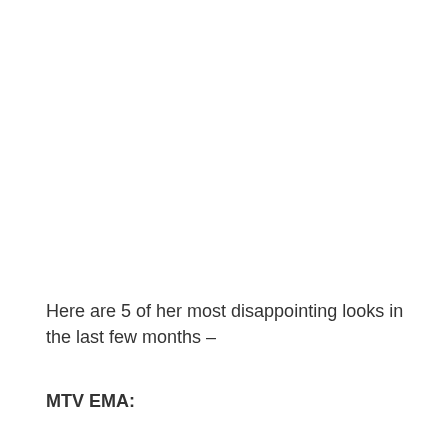Here are 5 of her most disappointing looks in the last few months –
MTV EMA: